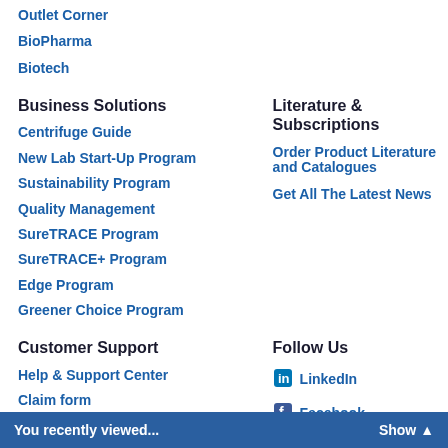Outlet Corner
BioPharma
Biotech
Business Solutions
Centrifuge Guide
New Lab Start-Up Program
Sustainability Program
Quality Management
SureTRACE Program
SureTRACE+ Program
Edge Program
Greener Choice Program
Literature & Subscriptions
Order Product Literature and Catalogues
Get All The Latest News
Customer Support
Help & Support Center
Claim form
Follow Us
LinkedIn
Facebook
Twitter
You recently viewed...    Show ▲